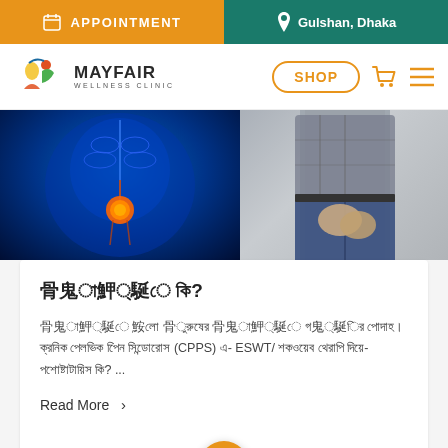APPOINTMENT | Gulshan, Dhaka
[Figure (logo): Mayfair Wellness Clinic logo with colorful figure icon]
[Figure (photo): Medical illustration of human urinary/prostate anatomy in blue glowing style on left, and man holding groin area in pain on right]
প্রস্টেটাইটিস কি?
প্রোস্টেটাইটিস হলো পুরুষের প্রোস্টেট গ্রন্থির প্রদাহ। ক্রনিক পেলভিক পেইন সিন্ড্রোম (CPPS) এ- ESWT/ শকওয়েভ থেরাপি দিয়ে- প্রোস্টেটাইটিস কি? ...
Read More >